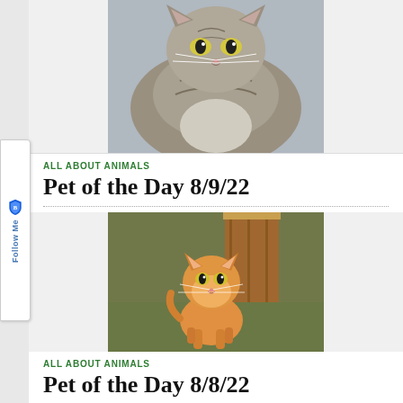[Figure (photo): A gray tabby cat looking at the camera, shown from above slightly]
ALL ABOUT ANIMALS
Pet of the Day 8/9/22
[Figure (photo): An orange kitten walking toward the camera in a room with wood-paneled walls and green floor]
ALL ABOUT ANIMALS
Pet of the Day 8/8/22